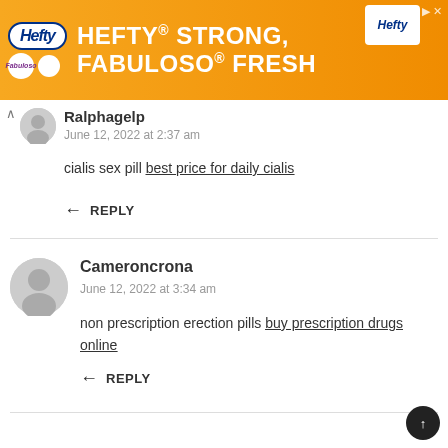[Figure (other): Hefty advertisement banner: orange background with Hefty and Fabuloso logos, text HEFTY STRONG, FABULOSO FRESH]
Ralphagelp
June 12, 2022 at 2:37 am
cialis sex pill best price for daily cialis
REPLY
Cameroncrona
June 12, 2022 at 3:34 am
non prescription erection pills buy prescription drugs online
REPLY